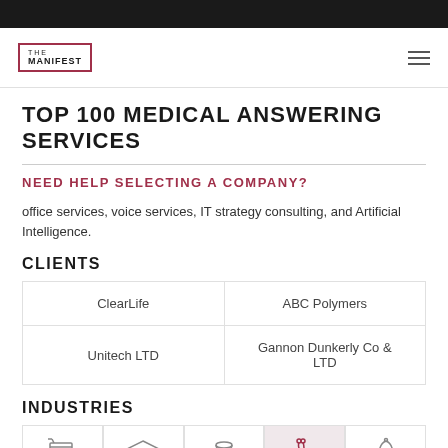THE MANIFEST
TOP 100 MEDICAL ANSWERING SERVICES
NEED HELP SELECTING A COMPANY?
office services, voice services, IT strategy consulting, and Artificial Intelligence.
CLIENTS
| ClearLife | ABC Polymers |
| Unitech LTD | Gannon Dunkerly Co & LTD |
INDUSTRIES
[Figure (illustration): Row of 5 industry icons: shopping cart, graduation cap, coins/finance, stethoscope/medical, and service bell]